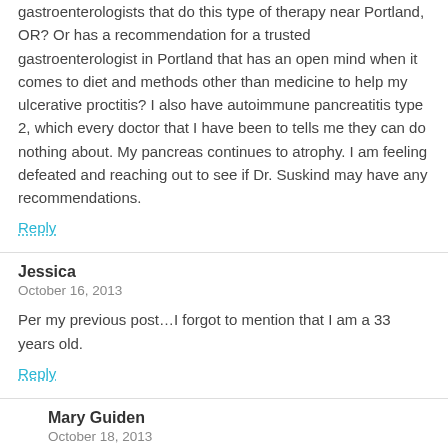gastroenterologists that do this type of therapy near Portland, OR? Or has a recommendation for a trusted gastroenterologist in Portland that has an open mind when it comes to diet and methods other than medicine to help my ulcerative proctitis? I also have autoimmune pancreatitis type 2, which every doctor that I have been to tells me they can do nothing about. My pancreas continues to atrophy. I am feeling defeated and reaching out to see if Dr. Suskind may have any recommendations.
Reply
Jessica
October 16, 2013
Per my previous post…I forgot to mention that I am a 33 years old.
Reply
Mary Guiden
October 18, 2013
Thank you for reading about Dr. Suskind's research. According to Clinicaltrials.gov, the closest center conducting similar research for adults (and actively